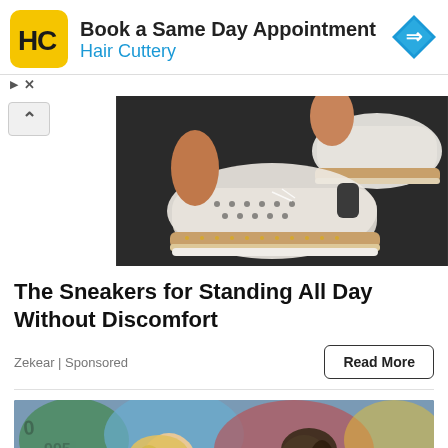[Figure (screenshot): Hair Cuttery advertisement banner with yellow HC logo, text 'Book a Same Day Appointment' and 'Hair Cuttery', blue navigation arrow icon on right]
[Figure (photo): Close-up photo of feet wearing white leather sneakers with perforated design and camel/tan rope-style sole trim on dark pavement]
The Sneakers for Standing All Day Without Discomfort
Zekear | Sponsored
[Figure (photo): Two young women standing in front of a colorful graffiti mural, partially visible at bottom of page]